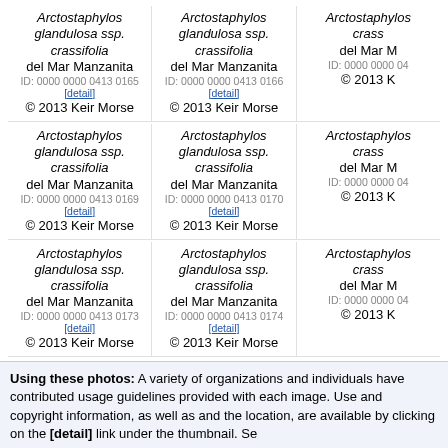Arctostaphylos glandulosa ssp. crassifolia
del Mar Manzanita
ID: 0000 0000 0413 0165 [detail]
© 2013 Keir Morse
Arctostaphylos glandulosa ssp. crassifolia
del Mar Manzanita
ID: 0000 0000 0413 0166 [detail]
© 2013 Keir Morse
Arctostaphylos glandulosa ssp. crassifolia
del Mar Manzanita
ID: 0000 0000 0413 0169 [detail]
© 2013 Keir Morse
Arctostaphylos glandulosa ssp. crassifolia
del Mar Manzanita
ID: 0000 0000 0413 0170 [detail]
© 2013 Keir Morse
Arctostaphylos glandulosa ssp. crassifolia
del Mar Manzanita
ID: 0000 0000 0413 0173 [detail]
© 2013 Keir Morse
Arctostaphylos glandulosa ssp. crassifolia
del Mar Manzanita
ID: 0000 0000 0413 0174 [detail]
© 2013 Keir Morse
Using these photos: A variety of organizations and individuals have contributed usage guidelines provided with each image. Use and copyright information, as well as and the location, are available by clicking on the [detail] link under the thumbnail. Se
next 9
Copyright © 1995-2022 UC Regents. All rights
CalPhotos is a project of BNHM   University of California, Berkeley